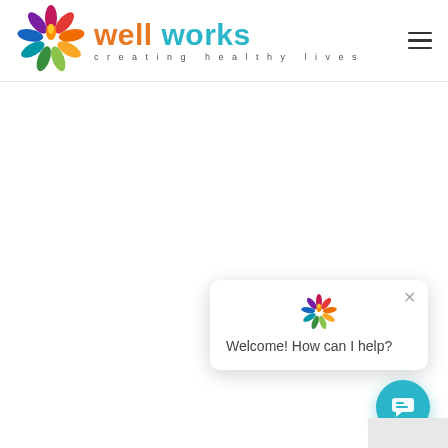[Figure (logo): Well Works logo with colorful flower petals (pink, purple, orange, yellow, green, light green, blue, teal, red) and text 'well works - creating healthy lives']
[Figure (screenshot): Chat popup widget with Well Works mini logo, close X button, and text 'Welcome! How can I help?' with teal circular chat button below]